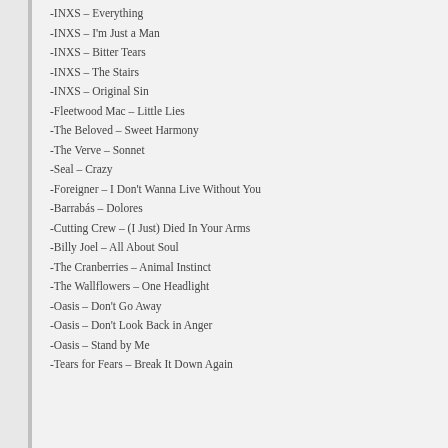-INXS – Everything
-INXS – I'm Just a Man
-INXS – Bitter Tears
-INXS – The Stairs
-INXS – Original Sin
-Fleetwood Mac – Little Lies
-The Beloved – Sweet Harmony
-The Verve – Sonnet
-Seal – Crazy
-Foreigner – I Don't Wanna Live Without You
-Barrabás – Dolores
-Cutting Crew – (I Just) Died In Your Arms
-Billy Joel – All About Soul
-The Cranberries – Animal Instinct
-The Wallflowers – One Headlight
-Oasis – Don't Go Away
-Oasis – Don't Look Back in Anger
-Oasis – Stand by Me
-Tears for Fears – Break It Down Again